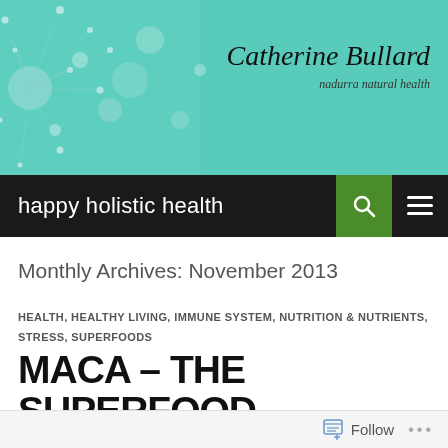[Figure (illustration): Blog header banner with teal/mint background and dandelion seed bokeh photography. Right side shows brand name 'Catherine Bullard' in italic serif font with tagline 'nadurra natural health' below.]
happy holistic health
Monthly Archives: November 2013
HEALTH, HEALTHY LIVING, IMMUNE SYSTEM, NUTRITION & NUTRIENTS, STRESS, SUPERFOODS
MACA – THE SUPERFOOD REBALANCER!
NOVEMBER 20, 2013   2 COMMENTS
Follow